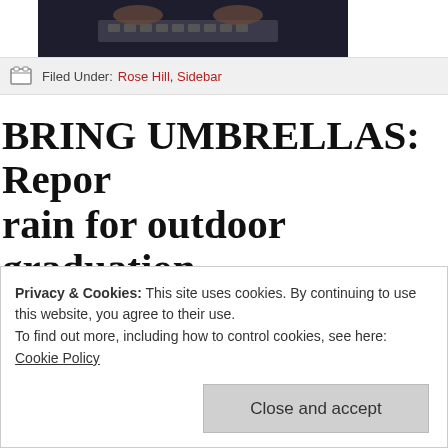[Figure (photo): Hands typing on a laptop keyboard, dark moody lighting]
Filed Under: Rose Hill, Sidebar
BRING UMBRELLAS: Repor rain for outdoor graduation
May 11, 2015 by Connor Ryan
[Figure (photo): Stormy cloudy sky outdoors]
Better bring a variety of w g r an for on. in g afternoon
Privacy & Cookies: This site uses cookies. By continuing to use this website, you agree to their use. To find out more, including how to control cookies, see here: Cookie Policy
Close and accept